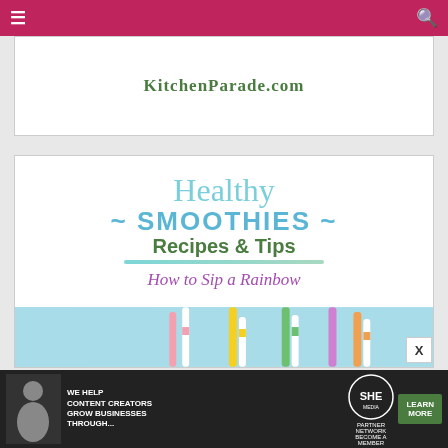Navigation bar with hamburger menu and search icon
[Figure (screenshot): KitchenParade.com website card showing the website URL in green serif font on white background]
[Figure (infographic): Healthy Smoothies Recipes & Tips - How to Sip a Rainbow promotional graphic with colorful straw photo. Text in light blue, teal, and green colors on white background with teal underline stroke and purple italic subtitle.]
[Figure (screenshot): SHE Media partner network advertisement banner: 'We help content creators grow businesses through...' with learn more button and SHE logo]